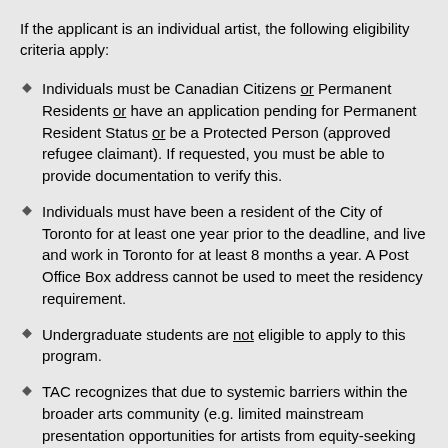If the applicant is an individual artist, the following eligibility criteria apply:
Individuals must be Canadian Citizens or Permanent Residents or have an application pending for Permanent Resident Status or be a Protected Person (approved refugee claimant). If requested, you must be able to provide documentation to verify this.
Individuals must have been a resident of the City of Toronto for at least one year prior to the deadline, and live and work in Toronto for at least 8 months a year. A Post Office Box address cannot be used to meet the residency requirement.
Undergraduate students are not eligible to apply to this program.
TAC recognizes that due to systemic barriers within the broader arts community (e.g. limited mainstream presentation opportunities for artists from equity-seeking communities) that some flexibility may be required in interpreting eligibility criteria to take into account equivalent professional experience and contexts. Potential applicants